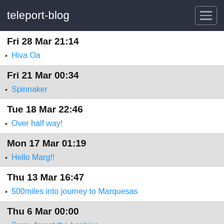teleport-blog
Fri 28 Mar 21:14
Hiva Oa
Fri 21 Mar 00:34
Spinnaker
Tue 18 Mar 22:46
Over half way!
Mon 17 Mar 01:19
Hello Marg!!
Thu 13 Mar 16:47
500miles into journey to Marquesas
Thu 6 Mar 00:00
Sorry, forgot the boobies
Wed 5 Mar 23:33
Diving and more sunsets.
Galapagos wildlife